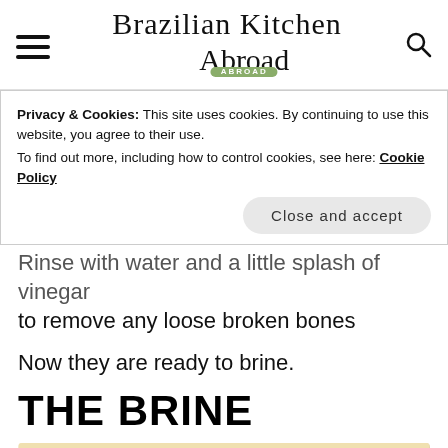Brazilian Kitchen Abroad
Privacy & Cookies: This site uses cookies. By continuing to use this website, you agree to their use.
To find out more, including how to control cookies, see here: Cookie Policy
Close and accept
Rinse with water and a little splash of vinegar to remove any loose broken bones
Now they are ready to brine.
THE BRINE
[Figure (photo): Partial photo of a bowl/dish with ingredients for brine, partially cut off at bottom of page]